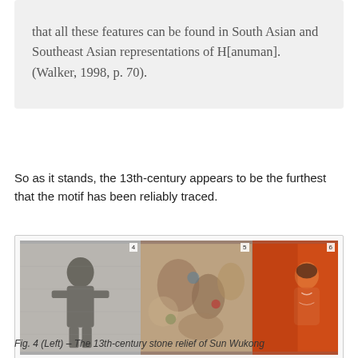that all these features can be found in South Asian and Southeast Asian representations of H[anuman]. (Walker, 1998, p. 70).
So as it stands, the 13th-century appears to be the furthest that the motif has been reliably traced.
[Figure (photo): Three panels: (4) black-and-white stone relief showing a standing figure, (5) a faded mural/fresco with multiple figures in earth tones, (6) a reddish-orange painting with a figure.]
Fig. 4 (Left) – The 13th-century stone relief of Sun Wukong